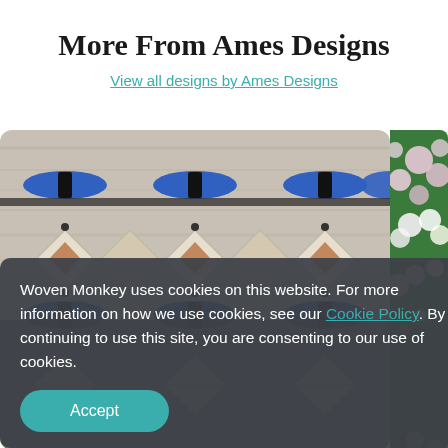More From Ames Designs
View all designs by Ames Designs
[Figure (photo): Decorative kaleidoscopic fabric/textile pattern with blue, black, and beige geometric shapes on a wood-grain background, shown as a product preview image.]
[Figure (photo): Partial view of a floral design fabric with pink and white flowers on green background, shown at the right edge.]
Woven Monkey uses cookies on this website. For more information on how we use cookies, see our Cookie Policy. By continuing to use this site, you are consenting to our use of cookies.
Accept